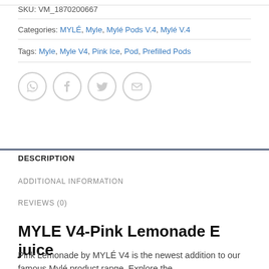SKU: VM_1870200667
Categories: MYLÉ, Myle, Mylé Pods V.4, Mylé V.4
Tags: Myle, Myle V4, Pink Ice, Pod, Prefilled Pods
[Figure (other): Social share icons: WhatsApp, Facebook, Twitter, Email — each in a grey circle outline]
DESCRIPTION
ADDITIONAL INFORMATION
REVIEWS (0)
MYLE V4-Pink Lemonade E juice
Pink Lemonade by MYLÉ V4 is the newest addition to our famous Mylé product range. Explore the